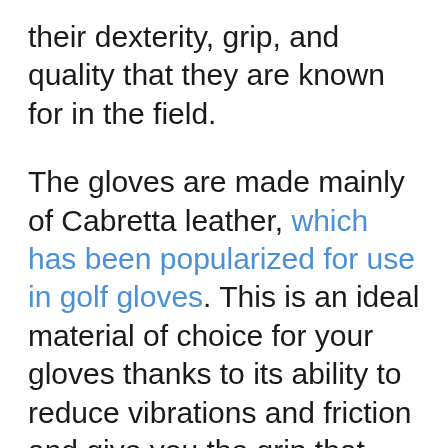their dexterity, grip, and quality that they are known for in the field.
The gloves are made mainly of Cabretta leather, which has been popularized for use in golf gloves. This is an ideal material of choice for your gloves thanks to its ability to reduce vibrations and friction and give you the grip that you need to rely on in the field.
The company further tailors the gloves to your need with a style and fit that is